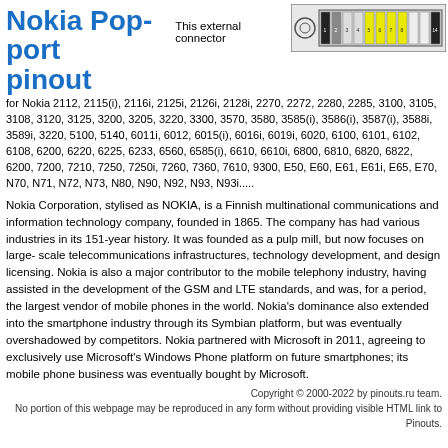Nokia Pop-port pinout
This external connector
[Figure (schematic): Nokia Pop-port connector pinout diagram showing numbered pins 1-14 with some pins highlighted in yellow and black]
for Nokia 2112, 2115(i), 2116i, 2125i, 2126i, 2128i, 2270, 2272, 2280, 2285, 3100, 3105, 3108, 3120, 3125, 3200, 3205, 3220, 3300, 3570, 3580, 3585(i), 3586(i), 3587(i), 3588i, 3589i, 3220, 5100, 5140, 6011i, 6012, 6015(i), 6016i, 6019i, 6020, 6100, 6101, 6102, 6108, 6200, 6220, 6225, 6233, 6560, 6585(i), 6610, 6610i, 6800, 6810, 6820, 6822, 6200, 7200, 7210, 7250, 7250i, 7260, 7360, 7610, 9300, E50, E60, E61, E61i, E65, E70, N70, N71, N72, N73, N80, N90, N92, N93, N93i.....
Nokia Corporation, stylised as NOKIA, is a Finnish multinational communications and information technology company, founded in 1865. The company has had various industries in its 151-year history. It was founded as a pulp mill, but now focuses on large-scale telecommunications infrastructures, technology development, and design licensing. Nokia is also a major contributor to the mobile telephony industry, having assisted in the development of the GSM and LTE standards, and was, for a period, the largest vendor of mobile phones in the world. Nokia's dominance also extended into the smartphone industry through its Symbian platform, but was eventually overshadowed by competitors. Nokia partnered with Microsoft in 2011, agreeing to exclusively use Microsoft's Windows Phone platform on future smartphones; its mobile phone business was eventually bought by Microsoft.
Copyright © 2000-2022 by pinouts.ru team. No portion of this webpage may be reproduced in any form without providing visible HTML link to Pinouts.